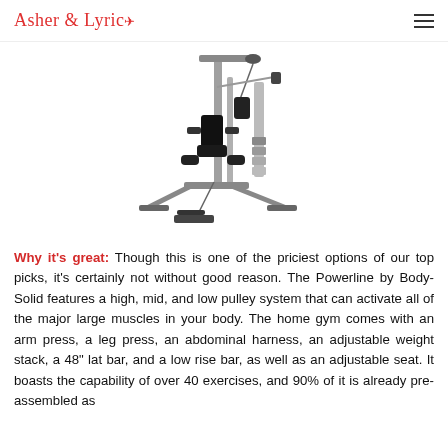Asher & Lyric
[Figure (photo): Photo of a Powerline by Body-Solid home gym machine with pulley system, arm press, leg press attachments, shown in gray/silver and black on white background]
Why it's great: Though this is one of the priciest options of our top picks, it's certainly not without good reason. The Powerline by Body-Solid features a high, mid, and low pulley system that can activate all of the major large muscles in your body. The home gym comes with an arm press, a leg press, an abdominal harness, an adjustable weight stack, a 48" lat bar, and a low rise bar, as well as an adjustable seat. It boasts the capability of over 40 exercises, and 90% of it is already pre-assembled as